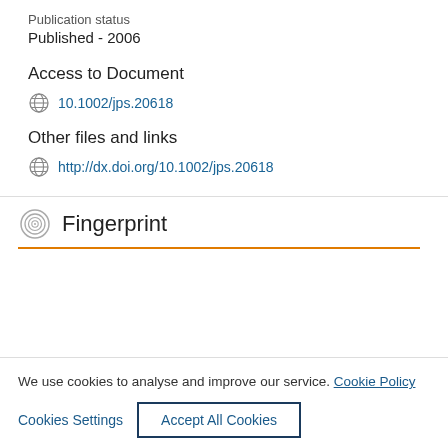Publication status
Published - 2006
Access to Document
10.1002/jps.20618
Other files and links
http://dx.doi.org/10.1002/jps.20618
Fingerprint
We use cookies to analyse and improve our service. Cookie Policy
Cookies Settings
Accept All Cookies